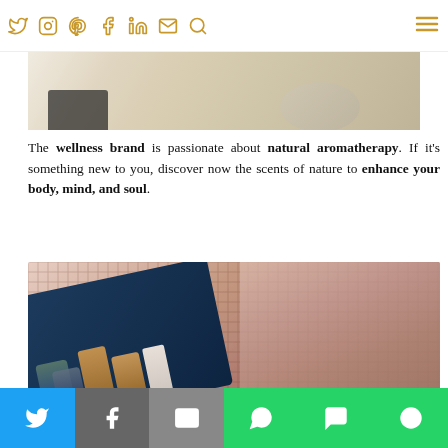Social media icons: Twitter, Instagram, Pinterest, Facebook, LinkedIn, Email, Search, Menu
[Figure (photo): Partial top image showing an aromatherapy or lifestyle scene with warm neutral tones]
The wellness brand is passionate about natural aromatherapy. If it's something new to you, discover now the scents of nature to enhance your body, mind, and soul.
[Figure (photo): Close-up photo of a blue box containing aromatherapy essential oil bottles with bamboo caps, placed on a pink/mauve waffle-knit textile]
Share bar with icons: Twitter, Facebook, Email, WhatsApp, SMS, More